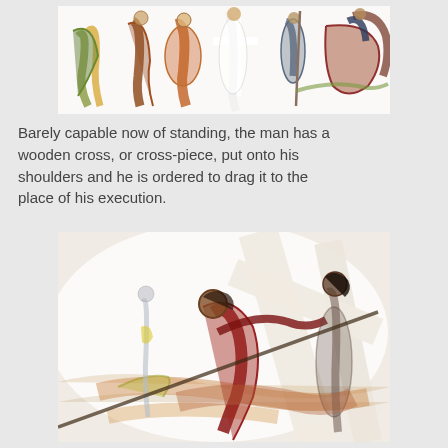[Figure (illustration): A painting depicting multiple figures in motion around a large cross. Colorful, sketchy brushwork showing people in robes and garments, some carrying the cross, with soldiers on horseback visible on the right side.]
Barely capable now of standing, the man has a wooden cross, or cross-piece, put onto his shoulders and he is ordered to drag it to the place of his execution.
[Figure (illustration): A painting showing a figure carrying a large wooden cross diagonally across the canvas. The central figure in red is bent under the weight of the cross. Another figure stands to the right. The painting uses sweeping brushstrokes in white, brown, red, and orange tones.]